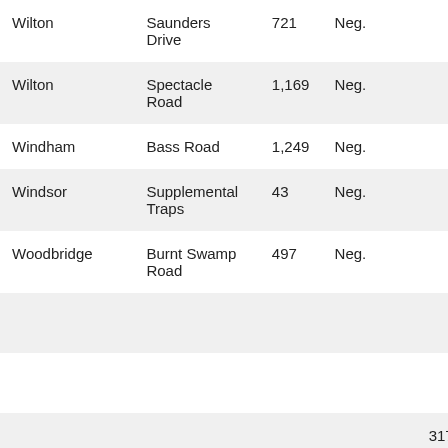| Wilton | Saunders Drive | 721 | Neg. |  |  |
| Wilton | Spectacle Road | 1,169 | Neg. |  |  |
| Windham | Bass Road | 1,249 | Neg. |  |  |
| Windsor | Supplemental Traps | 43 | Neg. |  |  |
| Woodbridge | Burnt Swamp Road | 497 | Neg. |  |  |
|  |  |  |  |  |  |
|  |  |  |  |  |  |
|  |  |  |  |  | 317 W |